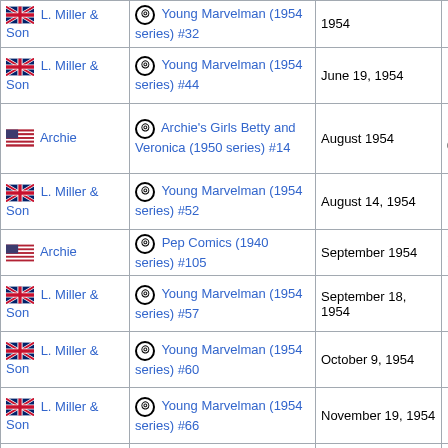| Publisher | Publication | Cover date | On sale date |
| --- | --- | --- | --- |
| L. Miller & Son (UK) | Young Marvelman (1954 series) #32 | 1954 | — |
| L. Miller & Son (UK) | Young Marvelman (1954 series) #44 | June 19, 1954 | — |
| Archie (US) | Archie's Girls Betty and Veronica (1950 series) #14 | August 1954 | 1954-06-09 |
| L. Miller & Son (UK) | Young Marvelman (1954 series) #52 | August 14, 1954 | — |
| Archie (US) | Pep Comics (1940 series) #105 | September 1954 | 1954 |
| L. Miller & Son (UK) | Young Marvelman (1954 series) #57 | September 18, 1954 | — |
| L. Miller & Son (UK) | Young Marvelman (1954 series) #60 | October 9, 1954 | — |
| L. Miller & Son (UK) | Young Marvelman (1954 series) #66 | November 19, 1954 | — |
| Archie (US) | Archie Annual (1950 series) #7 | 1955-1956 | — |